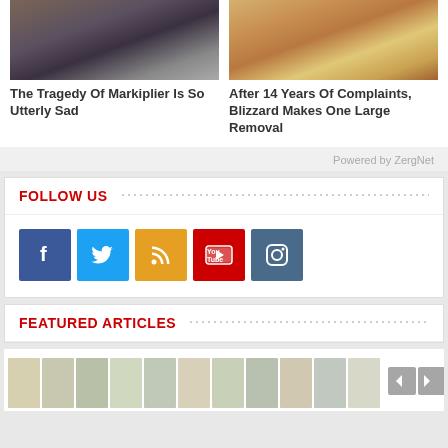[Figure (photo): Partial face photo of Markiplier (chin/mouth area visible)]
The Tragedy Of Markiplier Is So Utterly Sad
[Figure (photo): Fantasy dragon/creature image with warm sky background]
After 14 Years Of Complaints, Blizzard Makes One Large Removal
Powered by ZergNet
FOLLOW US
[Figure (infographic): Social media icons: Facebook (blue), Twitter (light blue), RSS (orange), YouTube (red), Instagram (steel blue)]
FEATURED ARTICLES
[Figure (illustration): Colorful mosaic/thumbnail strip with navigation arrows]